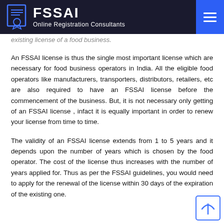FSSAI Online Registration Consultants
existing license of a food business.
An FSSAI license is thus the single most important license which are necessary for food business operators in India. All the eligible food operators like manufacturers, transporters, distributors, retailers, etc are also required to have an FSSAI license before the commencement of the business. But, it is not necessary only getting of an FSSAI license , infact it is equally important in order to renew your license from time to time.
The validity of an FSSAI license extends from 1 to 5 years and it depends upon the number of years which is chosen by the food operator. The cost of the license thus increases with the number of years applied for. Thus as per the FSSAI guidelines, you would need to apply for the renewal of the license within 30 days of the expiration of the existing one.